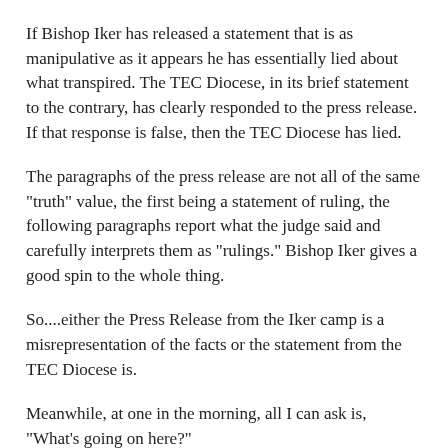If Bishop Iker has released a statement that is as manipulative as it appears he has essentially lied about what transpired. The TEC Diocese, in its brief statement to the contrary, has clearly responded to the press release. If that response is false, then the TEC Diocese has lied.
The paragraphs of the press release are not all of the same "truth" value, the first being a statement of ruling, the following paragraphs report what the judge said and carefully interprets them as "rulings." Bishop Iker gives a good spin to the whole thing.
So....either the Press Release from the Iker camp is a misrepresentation of the facts or the statement from the TEC Diocese is.
Meanwhile, at one in the morning, all I can ask is, "What's going on here?"